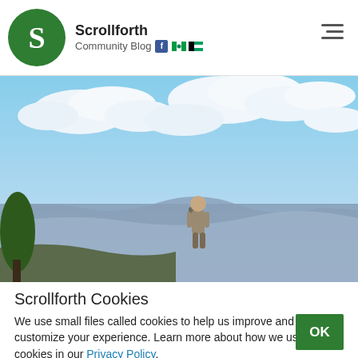Scrollforth — Community Blog
[Figure (photo): Person with backpack standing on a cliff edge looking up at a blue sky with clouds and mountains in the background]
Scrollforth Cookies
We use small files called cookies to help us improve and customize your experience. Learn more about how we use cookies in our Privacy Policy.